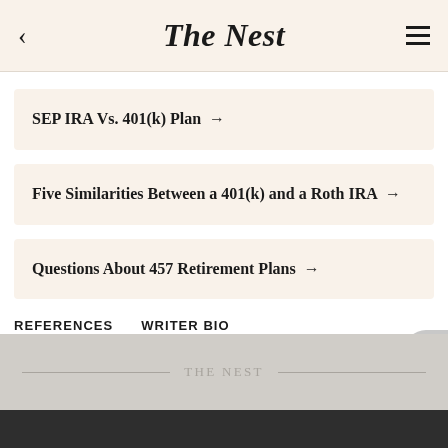The Nest
SEP IRA Vs. 401(k) Plan →
Five Similarities Between a 401(k) and a Roth IRA →
Questions About 457 Retirement Plans →
REFERENCES   WRITER BIO
THE NEST